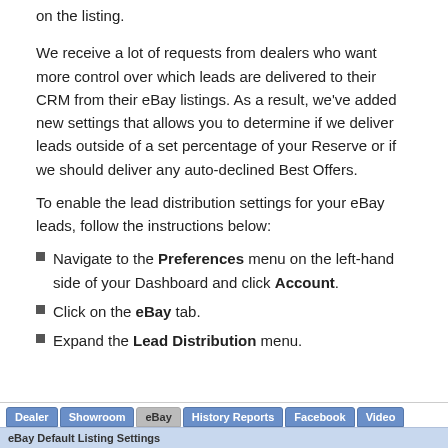on the listing.
We receive a lot of requests from dealers who want more control over which leads are delivered to their CRM from their eBay listings. As a result, we've added new settings that allows you to determine if we deliver leads outside of a set percentage of your Reserve or if we should deliver any auto-declined Best Offers.
To enable the lead distribution settings for your eBay leads, follow the instructions below:
Navigate to the Preferences menu on the left-hand side of your Dashboard and click Account.
Click on the eBay tab.
Expand the Lead Distribution menu.
[Figure (screenshot): Screenshot of a navigation tab bar showing tabs: Dealer, Showroom, eBay (active), History Reports, Facebook, Video. Below is a sub-header reading 'eBay Default Listing Settings'.]